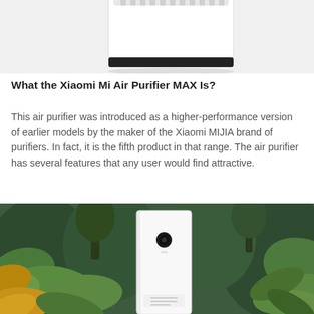[Figure (photo): Top portion of a white Xiaomi Mi Air Purifier MAX on a light gray background, showing the top and upper body of the device.]
What the Xiaomi Mi Air Purifier MAX Is?
This air purifier was introduced as a higher-performance version of earlier models by the maker of the Xiaomi MIJIA brand of purifiers. In fact, it is the fifth product in that range. The air purifier has several features that any user would find attractive.
[Figure (photo): Xiaomi Mi Air Purifier MAX standing tall in a lush indoor garden/greenhouse setting filled with tropical plants. The white rectangular device has a black circular sensor on the front.]